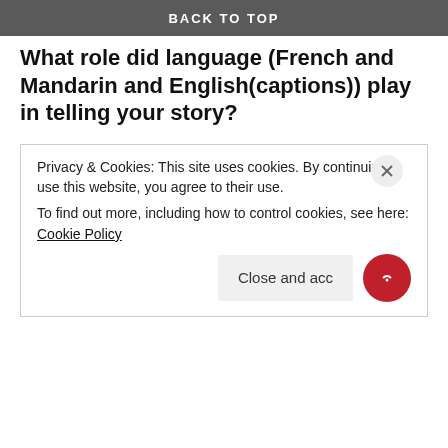BACK TO TOP
What role did language (French and Mandarin and English(captions)) play in telling your story?
It highlights the different backgrounds that we are all raised in. Language is so powerful because it opens doors. It allows communication, which brings understanding. What fascinates me is how much we can tell from someone’s language, be it from their accents, choice of words, or even the number of languages they know. There is nothing better than language to give us hints of
Privacy & Cookies: This site uses cookies. By continuing to use this website, you agree to their use.
To find out more, including how to control cookies, see here: Cookie Policy
Close and acc